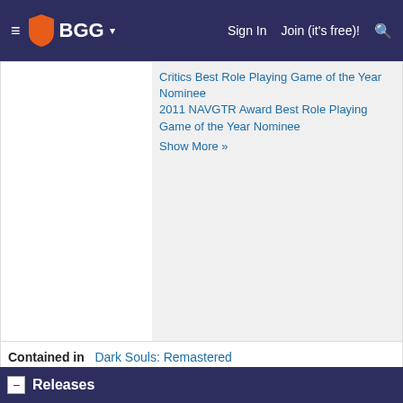BGG — Sign In | Join (it's free)!
Critics Best Role Playing Game of the Year Nominee 2011 NAVGTR Award Best Role Playing Game of the Year Nominee Show More »
Contained in: Dark Souls: Remastered
Releases
[Add Version]
new name pending
Nick: eShop
Publisher: Namco Bandai Games Inc.
Media: Downloadable Content
Region: